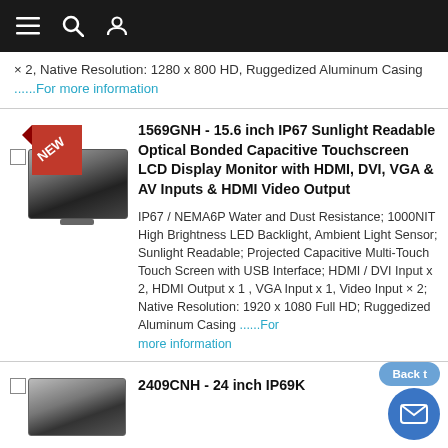Navigation bar with menu, search, and user icons
× 2, Native Resolution: 1280 x 800 HD, Ruggedized Aluminum Casing ......For more information
1569GNH - 15.6 inch IP67 Sunlight Readable Optical Bonded Capacitive Touchscreen LCD Display Monitor with HDMI, DVI, VGA & AV Inputs & HDMI Video Output
IP67 / NEMA6P Water and Dust Resistance; 1000NIT High Brightness LED Backlight, Ambient Light Sensor; Sunlight Readable; Projected Capacitive Multi-Touch Touch Screen with USB Interface; HDMI / DVI Input x 2, HDMI Output x 1 , VGA Input x 1, Video Input × 2; Native Resolution: 1920 x 1080 Full HD; Ruggedized Aluminum Casing ......For more information
2409CNH - 24 inch IP69K